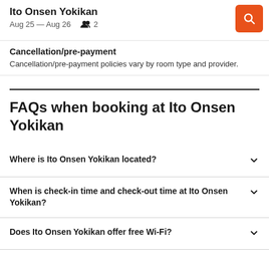Ito Onsen Yokikan
Aug 25 – Aug 26  2
Cancellation/pre-payment
Cancellation/pre-payment policies vary by room type and provider.
FAQs when booking at Ito Onsen Yokikan
Where is Ito Onsen Yokikan located?
When is check-in time and check-out time at Ito Onsen Yokikan?
Does Ito Onsen Yokikan offer free Wi-Fi?